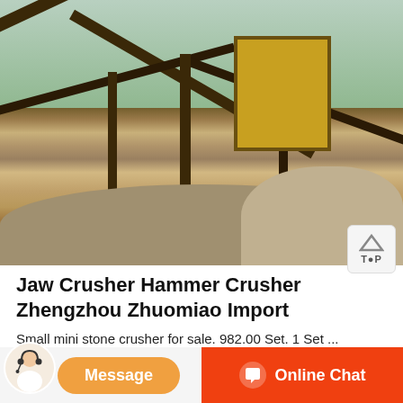[Figure (photo): Industrial stone crushing plant with conveyor belts, structural steel framework, machinery, and piles of crushed stone/gravel. Outdoor setting with green hills in background.]
Jaw Crusher Hammer Crusher Zhengzhou Zhuomiao Import
Small mini stone crusher for sale. 982.00 Set. 1 Set ... crushers, hammer crushers, Raymond mills, wet pan mills,sand making machines, mineral processing equipment, milling machines, ball mills, and building material equipment.Stone Production Line